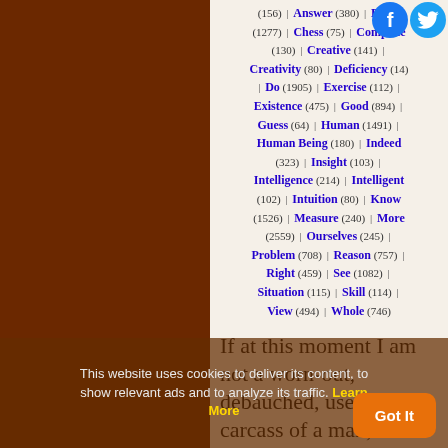(156) | Answer (380) | Being (1277) | Chess (75) | Complete (130) | Creative (141) | Creativity (80) | Deficiency (14) | Do (1905) | Exercise (112) | Existence (475) | Good (894) | Guess (64) | Human (1491) | Human Being (180) | Indeed (323) | Insight (103) | Intelligence (214) | Intelligent (102) | Intuition (80) | Know (1526) | Measure (240) | More (2559) | Ourselves (245) | Problem (708) | Reason (757) | Right (459) | See (1082) | Situation (115) | Skill (114) | View (494) | Whole (746)
If at this moment I am not a worn-out, debauched, useless carcass of a man, if it has been or will be my fate to advance the cause of science, if I feel that it have a shadow of a claim on the love of
This website uses cookies to deliver its content, to show relevant ads and to analyze its traffic. Learn More